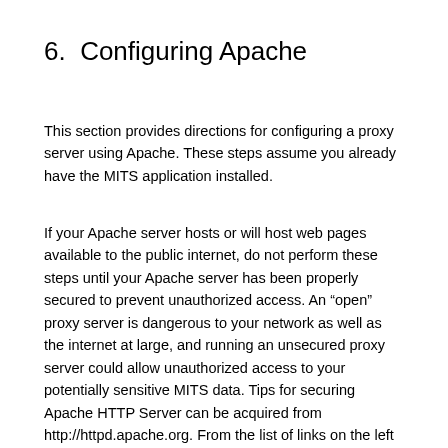6.  Configuring Apache
This section provides directions for configuring a proxy server using Apache. These steps assume you already have the MITS application installed.
If your Apache server hosts or will host web pages available to the public internet, do not perform these steps until your Apache server has been properly secured to prevent unauthorized access. An “open” proxy server is dangerous to your network as well as the internet at large, and running an unsecured proxy server could allow unauthorized access to your potentially sensitive MITS data. Tips for securing Apache HTTP Server can be acquired from http://httpd.apache.org. From the list of links on the left select Docs , then Version 2.0, then Modules , then mod_proxy.